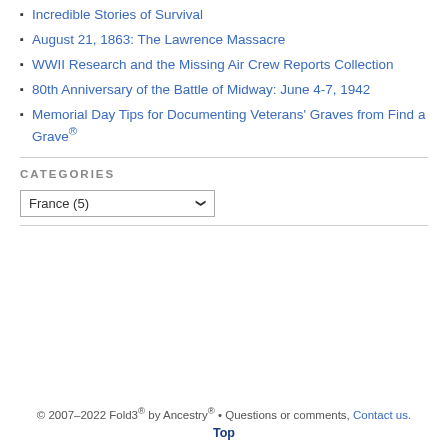Incredible Stories of Survival
August 21, 1863: The Lawrence Massacre
WWII Research and the Missing Air Crew Reports Collection
80th Anniversary of the Battle of Midway: June 4-7, 1942
Memorial Day Tips for Documenting Veterans' Graves from Find a Grave®
CATEGORIES
France  (5)
© 2007–2022 Fold3® by Ancestry® • Questions or comments, Contact us.
Top